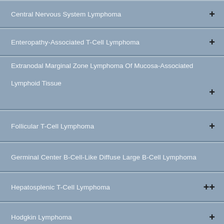Central Nervous System Lymphoma
Enteropathy-Associated T-Cell Lymphoma
Extranodal Marginal Zone Lymphoma Of Mucosa-Associated Lymphoid Tissue
Follicular T-Cell Lymphoma
Germinal Center B-Cell-Like Diffuse Large B-Cell Lymphoma
Hepatosplenic T-Cell Lymphoma
Hodgkin Lymphoma
Indolent T-Cell Lymphoproliferative Disorder Of The